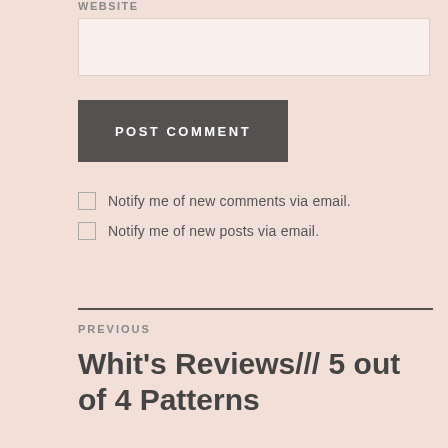WEBSITE
(input field)
POST COMMENT
Notify me of new comments via email.
Notify me of new posts via email.
PREVIOUS
Whit's Reviews/// 5 out of 4 Patterns